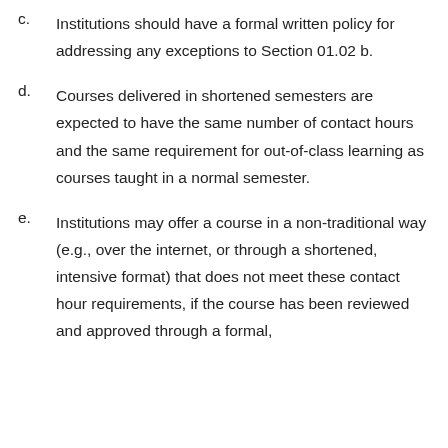c. Institutions should have a formal written policy for addressing any exceptions to Section 01.02 b.
d. Courses delivered in shortened semesters are expected to have the same number of contact hours and the same requirement for out-of-class learning as courses taught in a normal semester.
e. Institutions may offer a course in a non-traditional way (e.g., over the internet, or through a shortened, intensive format) that does not meet these contact hour requirements, if the course has been reviewed and approved through a formal,